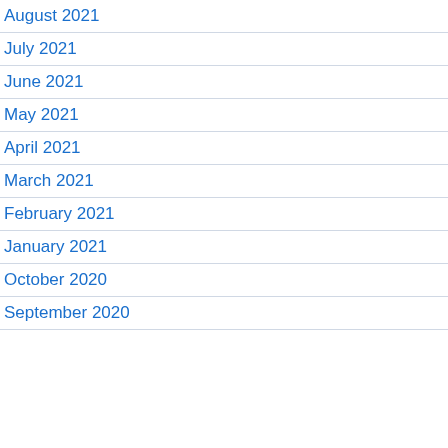August 2021
July 2021
June 2021
May 2021
April 2021
March 2021
February 2021
January 2021
October 2020
September 2020